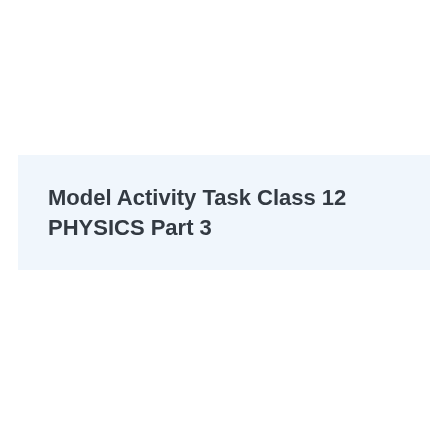Model Activity Task Class 12 PHYSICS Part 3